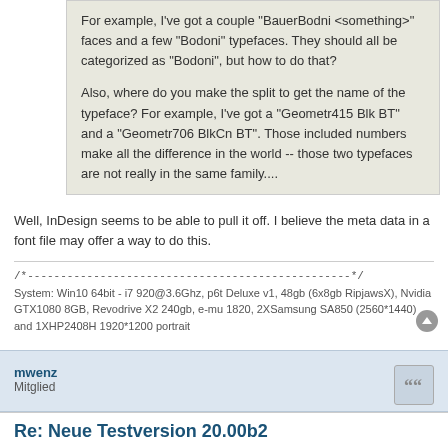For example, I've got a couple "BauerBodni <something>" faces and a few "Bodoni" typefaces. They should all be categorized as "Bodoni", but how to do that?

Also, where do you make the split to get the name of the typeface? For example, I've got a "Geometr415 Blk BT" and a "Geometr706 BlkCn BT". Those included numbers make all the difference in the world -- those two typefaces are not really in the same family....
Well, InDesign seems to be able to pull it off. I believe the meta data in a font file may offer a way to do this.
/*-------------------------------------------------*/
System: Win10 64bit - i7 920@3.6Ghz, p6t Deluxe v1, 48gb (6x8gb RipjawsX), Nvidia GTX1080 8GB, Revodrive X2 240gb, e-mu 1820, 2XSamsung SA850 (2560*1440) and 1XHP2408H 1920*1200 portrait
mwenz
Mitglied
Re: Neue Testversion 20.00b2
So 30 Okt 2016 17:31
photoken hat geschrieben: